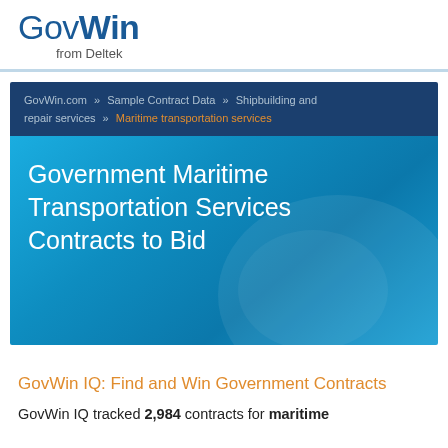GovWin from Deltek
GovWin.com » Sample Contract Data » Shipbuilding and repair services » Maritime transportation services
Government Maritime Transportation Services Contracts to Bid
GovWin IQ: Find and Win Government Contracts
GovWin IQ tracked 2,984 contracts for maritime